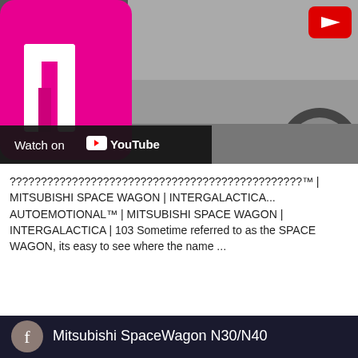[Figure (screenshot): YouTube video thumbnail showing a silver car (Mitsubishi Space Wagon) with a magenta/pink Motoring logo overlay on the left and a YouTube play button in the top right. A 'Watch on YouTube' bar is at the bottom of the thumbnail.]
??????????????????????????????????????????????? ™ | MITSUBISHI SPACE WAGON | INTERGALACTICA... AUTOEMOTIONAL™ | MITSUBISHI SPACE WAGON | INTERGALACTICA | 103 Sometime referred to as the SPACE WAGON, its easy to see where the name ...
[Figure (screenshot): Facebook page thumbnail showing 'Mitsubishi SpaceWagon N30/N40' with a circular grey Facebook icon on the left against a dark navy background.]